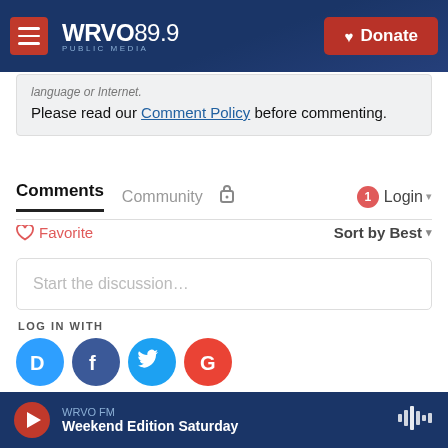WRVO PUBLIC MEDIA 89.9 — Donate
language or Internet.
Please read our Comment Policy before commenting.
Comments   Community   🔒   1   Login ▾
♡ Favorite   Sort by Best ▾
Start the discussion…
LOG IN WITH
[Figure (illustration): Four social login icons: Disqus (blue), Facebook (dark blue), Twitter (light blue), Google (red)]
OR SIGN UP WITH DISQUS ?
Name
WRVO FM — Weekend Edition Saturday